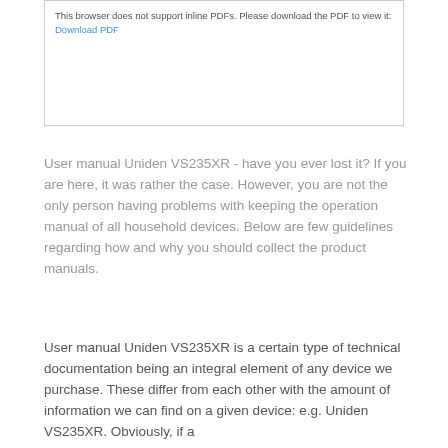This browser does not support inline PDFs. Please download the PDF to view it: Download PDF
User manual Uniden VS235XR - have you ever lost it? If you are here, it was rather the case. However, you are not the only person having problems with keeping the operation manual of all household devices. Below are few guidelines regarding how and why you should collect the product manuals.
User manual Uniden VS235XR is a certain type of technical documentation being an integral element of any device we purchase. These differ from each other with the amount of information we can find on a given device: e.g. Uniden VS235XR. Obviously, if a